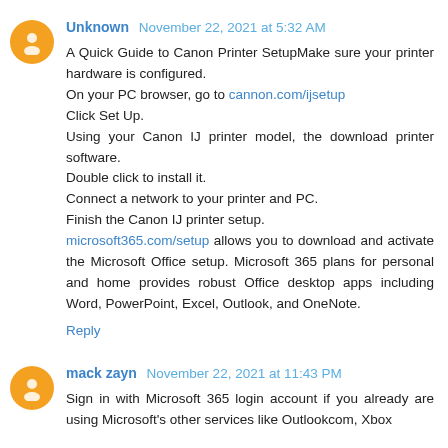Unknown November 22, 2021 at 5:32 AM
A Quick Guide to Canon Printer SetupMake sure your printer hardware is configured.
On your PC browser, go to cannon.com/ijsetup
Click Set Up.
Using your Canon IJ printer model, the download printer software.
Double click to install it.
Connect a network to your printer and PC.
Finish the Canon IJ printer setup.
microsoft365.com/setup allows you to download and activate the Microsoft Office setup. Microsoft 365 plans for personal and home provides robust Office desktop apps including Word, PowerPoint, Excel, Outlook, and OneNote.
Reply
mack zayn November 22, 2021 at 11:43 PM
Sign in with Microsoft 365 login account if you already are using Microsoft's other services like Outlookcom, Xbox